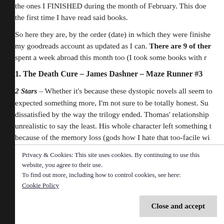the ones I FINISHED during the month of February. This does not mean it's the first time I have read said books.
So here they are, by the order (date) in which they were finished. I keep my goodreads account as updated as I can. There are 9 of them. I also spent a week abroad this month too (I took some books with me).
1. The Death Cure – James Dashner – Maze Runner #3
2 Stars – Whether it's because these dystopic novels all seem to... expected something more, I'm not sure to be totally honest. Su... dissatisfied by the way the trilogy ended. Thomas' relationship... unrealistic to say the least. His whole character left something t... because of the memory loss (gods how I hate that too-facile w... 'scene', reminiscent of Kevin Costner's movie 'Waterworld' was... mention simplistically explained.
Privacy & Cookies: This site uses cookies. By continuing to use this website, you agree to their use.
To find out more, including how to control cookies, see here:
Cookie Policy
Close and accept